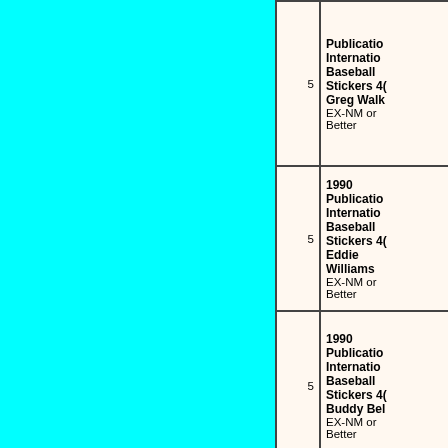| Qty | Description |
| --- | --- |
| 5 | 1990 Publications International Baseball Stickers 40 Greg Walker EX-NM or Better |
| 5 | 1990 Publications International Baseball Stickers 40 Eddie Williams EX-NM or Better |
| 5 | 1990 Publications International Baseball Stickers 40 Buddy Bell EX-NM or Better |
| 5 | 1990 Publications International Baseball Stickers 40 Kevin Br... EX-NM or Better |